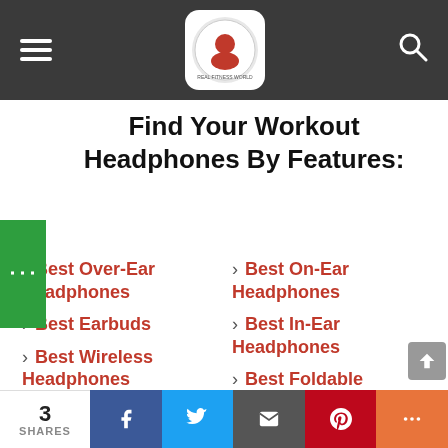Navigation bar with hamburger menu, logo, and search icon
Find Your Workout Headphones By Features:
Best Over-Ear Headphones
Best On-Ear Headphones
Best Earbuds
Best In-Ear Headphones
Best Wireless Headphones
Best Foldable Headphones
Best Lightweight Headphones
Best Noise-Isolating Headphones
Best Noise-
Best Water-Resistant
3 SHARES | Facebook | Twitter | Email | Pinterest | More